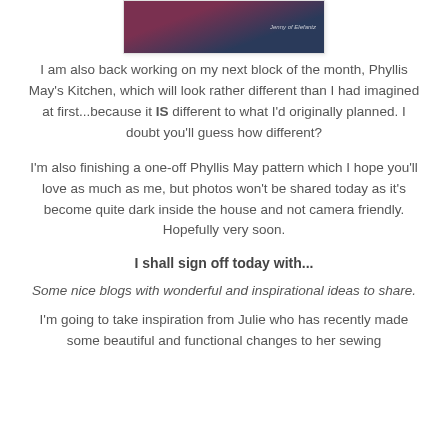[Figure (photo): Top portion of a photo showing a dark background with reddish/pink fabric or object, with small italic text overlay reading 'Jenny of Elefantz']
I am also back working on my next block of the month, Phyllis May's Kitchen, which will look rather different than I had imagined at first...because it IS different to what I'd originally planned. I doubt you'll guess how different?
I'm also finishing a one-off Phyllis May pattern which I hope you'll love as much as me, but photos won't be shared today as it's become quite dark inside the house and not camera friendly. Hopefully very soon.
I shall sign off today with...
Some nice blogs with wonderful and inspirational ideas to share.
I'm going to take inspiration from Julie who has recently made some beautiful and functional changes to her sewing